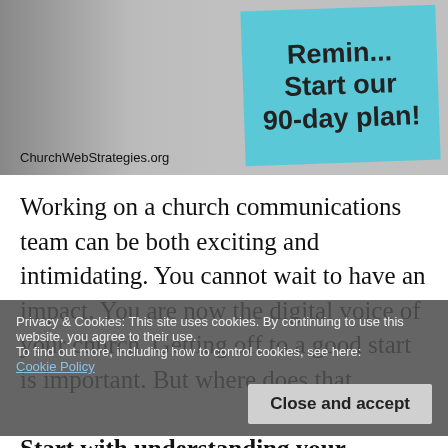[Figure (photo): A sticky note on a grey gradient background reading 'Remind... Start our 90-day plan!' with ChurchWebStrategies.org watermark]
Working on a church communications team can be both exciting and intimidating. You cannot wait to have an impact. You are now the digital voice of your church. Getting off to a good start is important. But where does that
Privacy & Cookies: This site uses cookies. By continuing to use this website, you agree to their use. To find out more, including how to control cookies, see here: Cookie Policy
Start with understanding your website. This article is based on recent success in my professional career.
This is an overlay for privacy & cookie notice with Close and accept button.